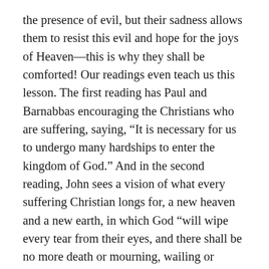the presence of evil, but their sadness allows them to resist this evil and hope for the joys of Heaven—this is why they shall be comforted! Our readings even teach us this lesson. The first reading has Paul and Barnabbas encouraging the Christians who are suffering, saying, “It is necessary for us to undergo many hardships to enter the kingdom of God.” And in the second reading, John sees a vision of what every suffering Christian longs for, a new heaven and a new earth, in which God “will wipe every tear from their eyes, and there shall be no more death or mourning, wailing or pain…” That image reminds us that though we suffer now, it will one day end in glory—but only if we are patient.
Speaking of patience, that is also what the second beatitude on meekness is about. So how is this a remedy for anger? At first glance, it seems a meek person just lets injustices happen, as though they are pushovers. However, that is not really the case. Just